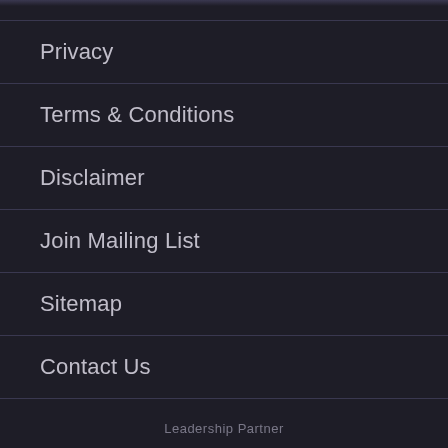Privacy
Terms & Conditions
Disclaimer
Join Mailing List
Sitemap
Contact Us
Leadership Partner
[Figure (logo): Macquarie Group logo — white concentric circle/donut ring design with MACQUARIE text below, on dark background]